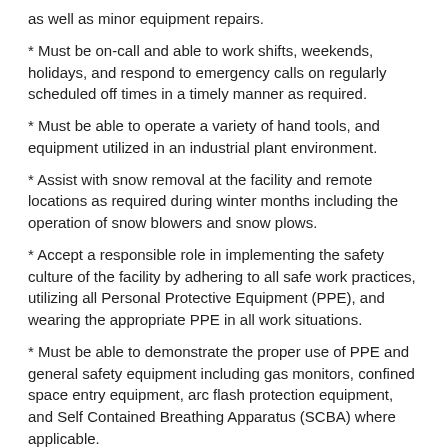* as well as minor equipment repairs.
* Must be on-call and able to work shifts, weekends, holidays, and respond to emergency calls on regularly scheduled off times in a timely manner as required.
* Must be able to operate a variety of hand tools, and equipment utilized in an industrial plant environment.
* Assist with snow removal at the facility and remote locations as required during winter months including the operation of snow blowers and snow plows.
* Accept a responsible role in implementing the safety culture of the facility by adhering to all safe work practices, utilizing all Personal Protective Equipment (PPE), and wearing the appropriate PPE in all work situations.
* Must be able to demonstrate the proper use of PPE and general safety equipment including gas monitors, confined space entry equipment, arc flash protection equipment, and Self Contained Breathing Apparatus (SCBA) where applicable.
* Must be able to utilize personal computers and a variety of software applications such as Microsoft Office, Microsoft Excel, and Microsoft Word.